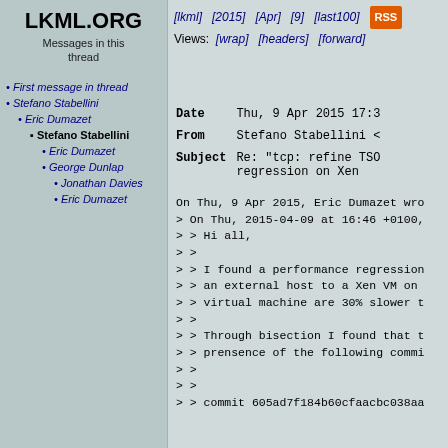LKML.ORG
Messages in this thread
First message in thread
Stefano Stabellini
Eric Dumazet
Stefano Stabellini
Eric Dumazet
George Dunlap
Jonathan Davies
Eric Dumazet
[lkml]  [2015]  [Apr]  [9]  [last100]  RSS   Views: [wrap]  [headers]  [forward]
| Field | Value |
| --- | --- |
| Date | Thu, 9 Apr 2015 17:3 |
| From | Stefano Stabellini < |
| Subject | Re: "tcp: refine TSO regression on Xen |
On Thu, 9 Apr 2015, Eric Dumazet wro
> On Thu, 2015-04-09 at 16:46 +0100,
> > Hi all,
> >
> > I found a performance regression
> > an external host to a Xen VM on
> > virtual machine are 30% slower t
> >
> > Through bisection I found that t
> > prensence of the following commi
> >
> >
> > commit 605ad7f184b60cfaacbc038aa